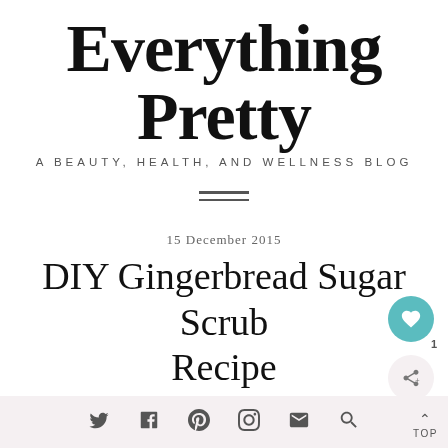Everything Pretty
A BEAUTY, HEALTH, AND WELLNESS BLOG
[Figure (other): Hamburger menu icon — two horizontal lines]
15 December 2015
DIY Gingerbread Sugar Scrub Recipe
[Figure (other): Floating heart/like button (teal circle with heart icon) with count 1, and share button below]
Social icons: Twitter, Facebook, Pinterest, Instagram, Email, Search | TOP